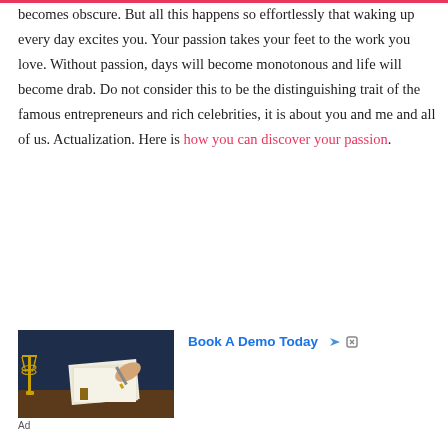becomes obscure. But all this happens so effortlessly that waking up every day excites you. Your passion takes your feet to the work you love. Without passion, days will become monotonous and life will become drab. Do not consider this to be the distinguishing trait of the famous entrepreneurs and rich celebrities, it is about you and me and all of us. Actualization. Here is how you can discover your passion.
[Figure (photo): A person writing at a desk with a golden balance/scales of justice in the foreground, dark blue background — legal or professional setting]
Book A Demo Today
Ad